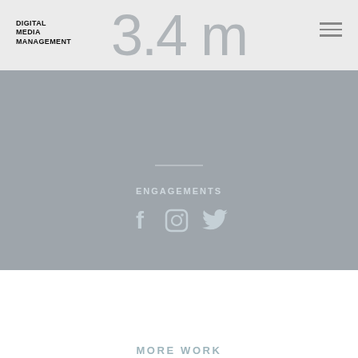DIGITAL MEDIA MANAGEMENT
3.4 m
ENGAGEMENTS
[Figure (infographic): Social media icons for Facebook, Instagram, and Twitter rendered in light blue-gray on a gray background]
MORE WORK